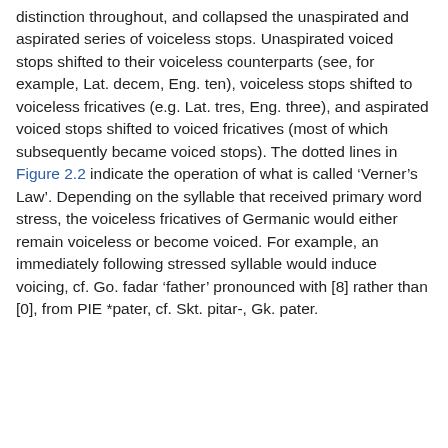distinction throughout, and collapsed the unaspirated and aspirated series of voiceless stops. Unaspirated voiced stops shifted to their voiceless counterparts (see, for example, Lat. decem, Eng. ten), voiceless stops shifted to voiceless fricatives (e.g. Lat. tres, Eng. three), and aspirated voiced stops shifted to voiced fricatives (most of which subsequently became voiced stops). The dotted lines in Figure 2.2 indicate the operation of what is called ‘Verner’s Law’. Depending on the syllable that received primary word stress, the voiceless fricatives of Germanic would either remain voiceless or become voiced. For example, an immediately following stressed syllable would induce voicing, cf. Go. fadar ‘father’ pronounced with [8] rather than [0], from PIE *pater, cf. Skt. pitar-, Gk. pater.